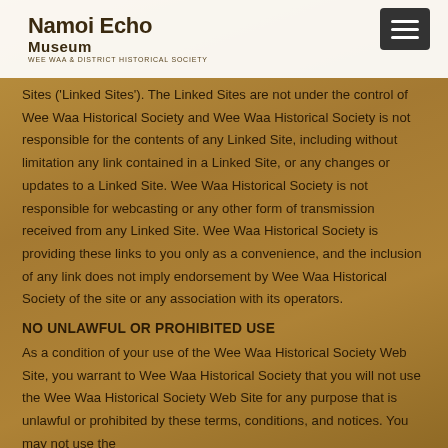Namoi Echo Museum
Wee Waa & District Historical Society
Sites ('Linked Sites'). The Linked Sites are not under the control of Wee Waa Historical Society and Wee Waa Historical Society is not responsible for the contents of any Linked Site, including without limitation any link contained in a Linked Site, or any changes or updates to a Linked Site. Wee Waa Historical Society is not responsible for webcasting or any other form of transmission received from any Linked Site. Wee Waa Historical Society is providing these links to you only as a convenience, and the inclusion of any link does not imply endorsement by Wee Waa Historical Society of the site or any association with its operators.
NO UNLAWFUL OR PROHIBITED USE
As a condition of your use of the Wee Waa Historical Society Web Site, you warrant to Wee Waa Historical Society that you will not use the Wee Waa Historical Society Web Site for any purpose that is unlawful or prohibited by these terms, conditions, and notices. You may not use the